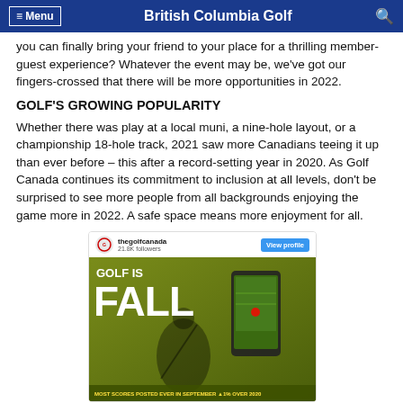≡ Menu   British Columbia Golf   🔍
you can finally bring your friend to your place for a thrilling member-guest experience? Whatever the event may be, we've got our fingers-crossed that there will be more opportunities in 2022.
GOLF'S GROWING POPULARITY
Whether there was play at a local muni, a nine-hole layout, or a championship 18-hole track, 2021 saw more Canadians teeing it up than ever before – this after a record-setting year in 2020. As Golf Canada continues its commitment to inclusion at all levels, don't be surprised to see more people from all backgrounds enjoying the game more in 2022. A safe space means more enjoyment for all.
[Figure (screenshot): Instagram post from thegolfcanada (21.8K followers) showing a golf promotional image with text 'GOLF IS FALL' and 'MOST SCORES POSTED EVER IN SEPTEMBER ▲1% OVER 2020', with a View Profile button and a phone overlay showing a golf app.]